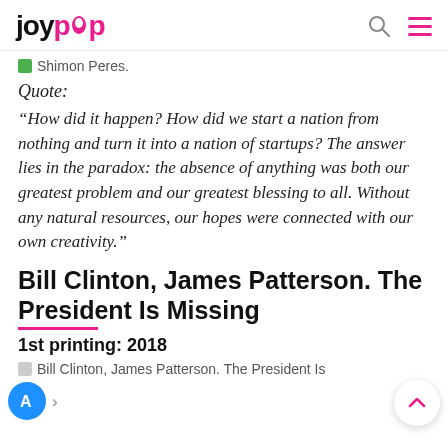joypop
Shimon Peres.
Quote:
“How did it happen? How did we start a nation from nothing and turn it into a nation of startups? The answer lies in the paradox: the absence of anything was both our greatest problem and our greatest blessing to all. Without any natural resources, our hopes were connected with our own creativity.”
Bill Clinton, James Patterson. The President Is Missing
1st printing: 2018
Bill Clinton, James Patterson. The President Is Missing